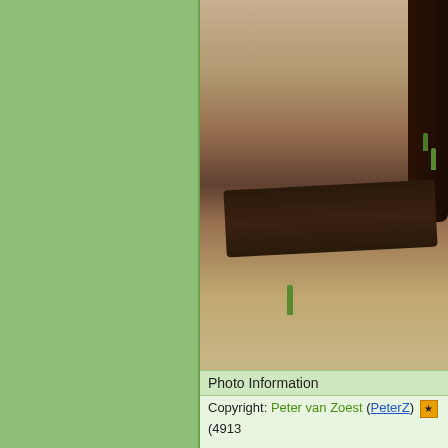[Figure (photo): Close-up photo of sandy/dirt ground with dried leaves, a dark log, small green sprouts, and part of a dark tree trunk visible at top right]
Photo Information
Copyright: Peter van Zoest (PeterZ) [star] (4913...
Genre: Animals
Medium: Color
Date Taken: 2013-09-20
Categories: Birds
Exposure: f/6.3  1/2500 seconds